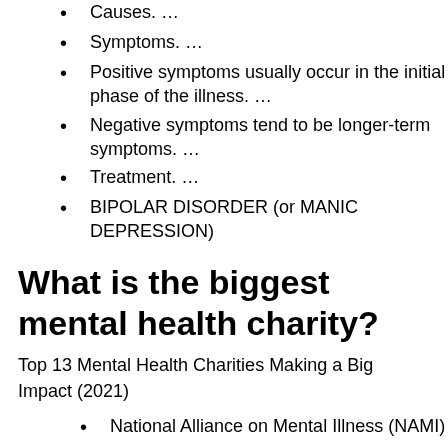Causes. …
Symptoms. …
Positive symptoms usually occur in the initial phase of the illness. …
Negative symptoms tend to be longer-term symptoms. …
Treatment. …
BIPOLAR DISORDER (or MANIC DEPRESSION)
What is the biggest mental health charity?
Top 13 Mental Health Charities Making a Big Impact (2021)
National Alliance on Mental Illness (NAMI)